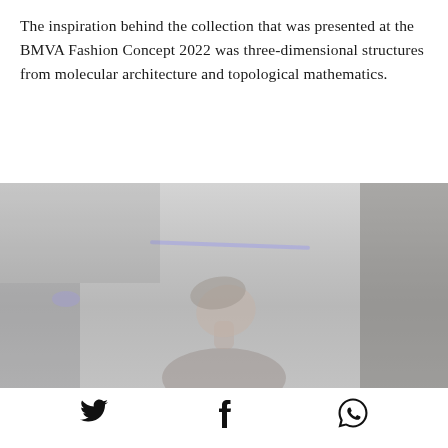The inspiration behind the collection that was presented at the BMVA Fashion Concept 2022 was three-dimensional structures from molecular architecture and topological mathematics.
[Figure (photo): A washed-out, light-toned photograph of a person (woman) looking upward, with a light beam or stage lighting visible in the background. The image has a pale gray tone overall, suggesting a fashion show or event setting.]
[Figure (infographic): Social media sharing icons: Twitter bird icon, Facebook 'f' icon, and WhatsApp logo, displayed in a row at the bottom of the page.]